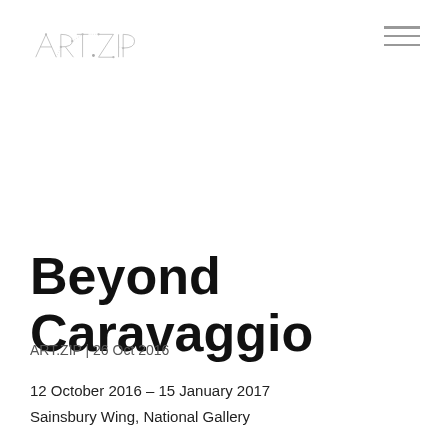[Figure (logo): ART.ZIP logo — stylized geometric text with interconnected dot-and-line letters]
Beyond Caravaggio
ART.ZIP | 26 Oct 2016
12 October 2016 – 15 January 2017
Sainsbury Wing, National Gallery